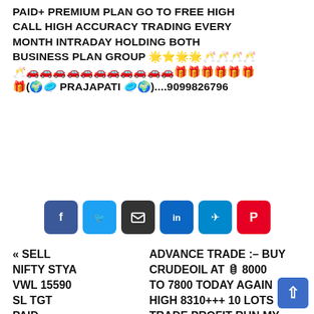PAID+ PREMIUM PLAN GO TO FREE HIGH CALL HIGH ACCURACY TRADING EVERY MONTH INTRADAY HOLDING BOTH BUSINESS PLAN GROUP 🌟⭐🌟🌟🥂🥂🥂🥂 🥂🚗🚗🚗🚗🚗🚗🚗🚗🚗🚗🚗🎁🎁🎁🎁🎁🎁 🎁(🌍🥏 PRAJAPATI 🥏🌍)....9099826796
[Figure (other): Social share buttons: Facebook, Twitter, Email, LinkedIn, Telegram, Pinterest]
« SELL NIFTY STYA VWL 15590 SL TGT PAID– 09887158903 JOIN WHTSUP GROUP SAY
ADVANCE TRADE :– BUY CRUDEOIL AT 🛢 8000 TO 7800 TODAY AGAIN HIGH 8310+++ 10 LOTS TRADE PROFIT RUN MY PAID SMART TRADER'S BUSINESS PLAN GROUP 300000+++ PICTURE ABHI BAKI HAI 🍀🌿🍀